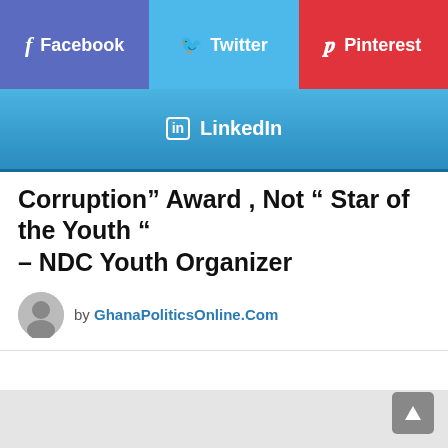[Figure (infographic): Three social share buttons in a row: Facebook (purple-blue), Twitter (light blue), Pinterest (red), each with icon and label]
[Figure (infographic): LinkedIn share button (blue gradient) spanning full width with LinkedIn icon and label]
Corruption” Award , Not “ Star of the Youth “ – NDC Youth Organizer
by GhanaPoliticsOnline.Com
[Figure (other): Gray content/advertisement area below article header]
[Figure (other): Gray scroll-to-top button at bottom right]